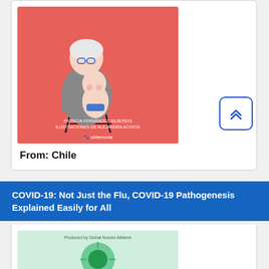[Figure (illustration): Book cover with salmon/red background showing an illustrated elderly woman with white hair and glasses hugging a child, sitting on a chair. Text at bottom reads 'PATRICIA FERNANDEZ SILBEREIS ILUSTRACIONES DE ALEJANDRA ACOSTA' with a publisher logo 'aMarmota'.]
From: Chile
COVID-19: Not Just the Flu, COVID-19 Pathogenesis Explained Easily for All
[Figure (illustration): Book cover with light green background showing a circular green illustration, text at top reads 'Produced by Global Nurse Alliance'.]